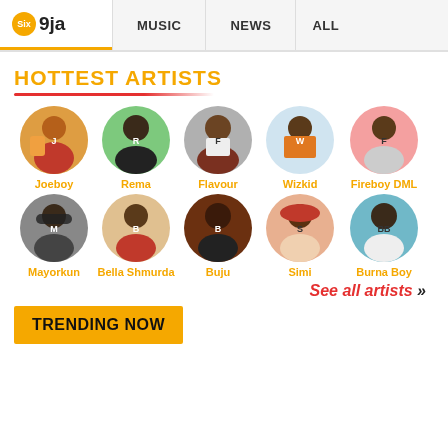Six 9ja — MUSIC   NEWS   ALL
HOTTEST ARTISTS
[Figure (photo): Row of circular artist photos: Joeboy, Rema, Flavour, Wizkid, Fireboy DML]
[Figure (photo): Row of circular artist photos: Mayorkun, Bella Shmurda, Buju, Simi, Burna Boy]
See all artists »
TRENDING NOW